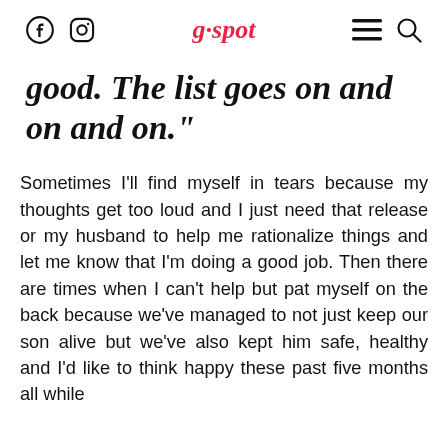g·spot
good. The list goes on and on and on."
Sometimes I'll find myself in tears because my thoughts get too loud and I just need that release or my husband to help me rationalize things and let me know that I'm doing a good job. Then there are times when I can't help but pat myself on the back because we've managed to not just keep our son alive but we've also kept him safe, healthy and I'd like to think happy these past five months all while